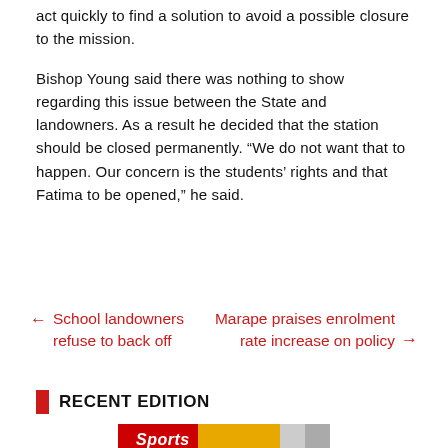act quickly to find a solution to avoid a possible closure to the mission.
Bishop Young said there was nothing to show regarding this issue between the State and landowners. As a result he decided that the station should be closed permanently. “We do not want that to happen. Our concern is the students’ rights and that Fatima to be opened,” he said.
← School landowners refuse to back off
Marape praises enrolment rate increase on policy →
RECENT EDITION
[Figure (photo): Magazine cover showing Sports edition]